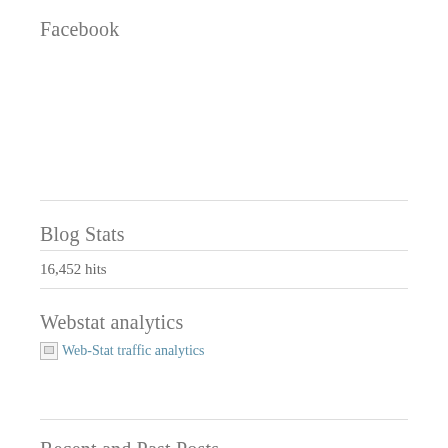Facebook
Blog Stats
16,452 hits
Webstat analytics
[Figure (other): Broken image placeholder with link text 'Web-Stat traffic analytics']
Recent and Past Posts